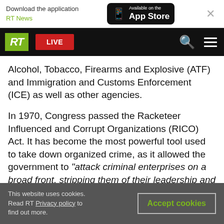Download the application RT News — Available on the App Store
[Figure (screenshot): RT news website navigation bar with green RT logo, red LIVE button, search icon, and hamburger menu on black background]
Alcohol, Tobacco, Firearms and Explosive (ATF) and Immigration and Customs Enforcement (ICE) as well as other agencies.
In 1970, Congress passed the Racketeer Influenced and Corrupt Organizations (RICO) Act. It has become the most powerful tool used to take down organized crime, as it allowed the government to "attack criminal enterprises on a broad front, stripping them of their leadership and sources of both illicit and legitimate revenue in one
This website uses cookies. Read RT Privacy policy to find out more. Accept cookies